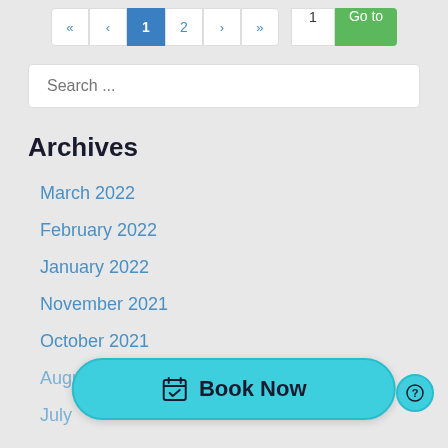[Figure (screenshot): Pagination bar with navigation buttons: «, ‹, 1 (active/blue), 2, ›, », a page input box showing 1, and a green Go to button]
Search ...
Archives
March 2022
February 2022
January 2022
November 2021
October 2021
August 2021 (partially visible)
July 2021 (partially visible)
[Figure (screenshot): Teal Book Now button with a calendar-checkmark icon, overlaid at the bottom of the page]